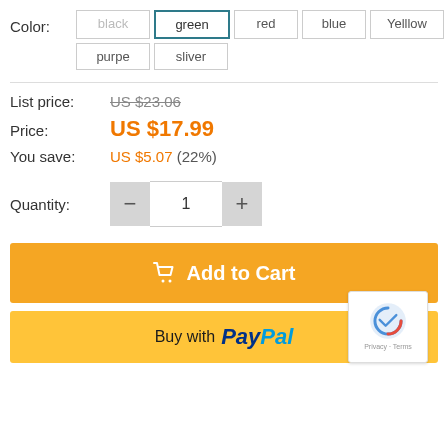Color: black green red blue Yelllow purpe sliver
List price: US $23.06
Price: US $17.99
You save: US $5.07 (22%)
Quantity: 1
Add to Cart
Buy with PayPal